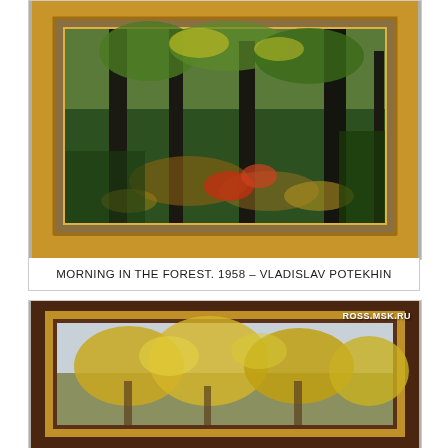[Figure (photo): Photograph of an oil painting titled 'Morning in the Forest. 1958' by Vladislav Potekhin. The painting depicts a forest scene with birch trees, dappled sunlight on the forest floor with patches of red, yellow, and green foliage. The painting is displayed in an ornate gold/gilded frame hanging on a gray wall.]
MORNING IN THE FOREST. 1958 – VLADISLAV POTEKHIN
[Figure (photo): Photograph of an oil painting showing autumn trees with yellow and golden foliage against a light sky. The painting is displayed in a dark brown wooden frame. A watermark reading 'ROSS.MSK.RU' appears in the upper right corner of the photo.]